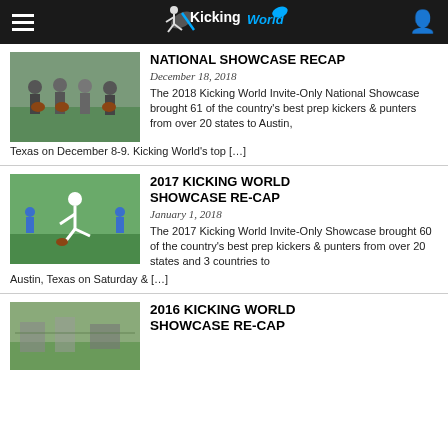KickingWorld
[Figure (photo): Group of football players holding footballs on a field]
NATIONAL SHOWCASE RECAP
December 18, 2018
The 2018 Kicking World Invite-Only National Showcase brought 61 of the country's best prep kickers & punters from over 20 states to Austin, Texas on December 8-9. Kicking World's top […]
[Figure (photo): Football player kicking a ball on field with team watching]
2017 KICKING WORLD SHOWCASE RE-CAP
January 1, 2018
The 2017 Kicking World Invite-Only Showcase brought 60 of the country's best prep kickers & punters from over 20 states and 3 countries to Austin, Texas on Saturday & […]
[Figure (photo): City/park landscape photo]
2016 KICKING WORLD SHOWCASE RE-CAP